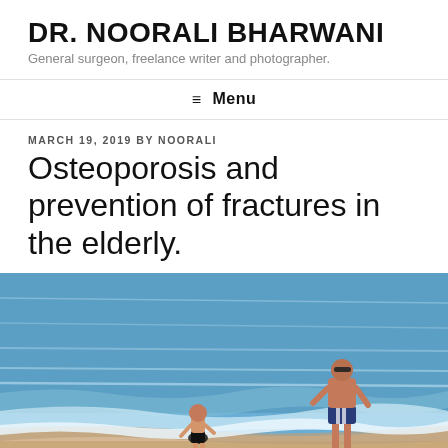DR. NOORALI BHARWANI
General surgeon, freelance writer and photographer.
≡ Menu
MARCH 19, 2019 BY NOORALI
Osteoporosis and prevention of fractures in the elderly.
[Figure (photo): A man and a young child playing on a sandy beach near blue ocean waves. The man is shirtless wearing striped swim shorts, and the child is wearing a dark swimsuit. Beach and sea background.]